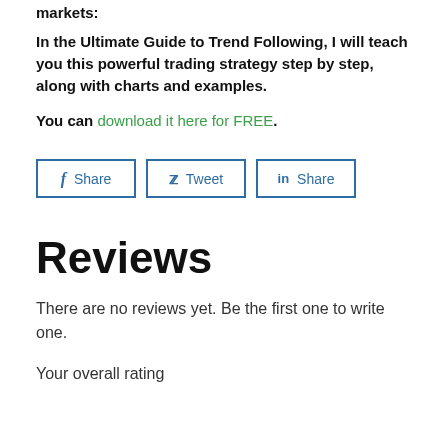markets:
In the Ultimate Guide to Trend Following, I will teach you this powerful trading strategy step by step, along with charts and examples.
You can download it here for FREE.
[Figure (other): Social share buttons: Facebook Share, Twitter Tweet, LinkedIn Share]
Reviews
There are no reviews yet. Be the first one to write one.
Your overall rating